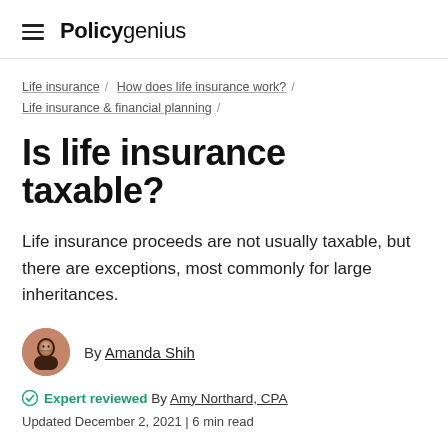Policygenius
Life insurance / How does life insurance work? / Life insurance & financial planning /
Is life insurance taxable?
Life insurance proceeds are not usually taxable, but there are exceptions, most commonly for large inheritances.
By Amanda Shih
Expert reviewed By Amy Northard, CPA
Updated December 2, 2021 | 6 min read